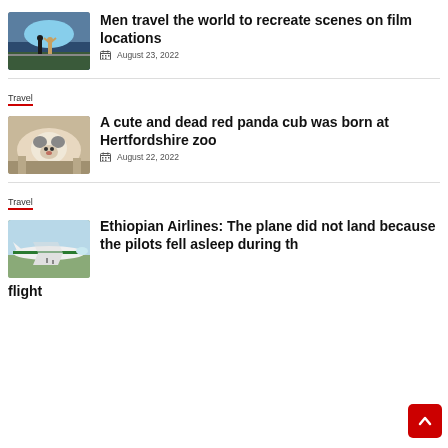[Figure (photo): Two people on a scenic overlook, one with arms raised]
Men travel the world to recreate scenes on film locations
August 23, 2022
Travel
[Figure (photo): A red panda cub curled up, fluffy and sleeping]
A cute and dead red panda cub was born at Hertfordshire zoo
August 22, 2022
Travel
[Figure (photo): An Ethiopian Airlines plane on the tarmac]
Ethiopian Airlines: The plane did not land because the pilots fell asleep during the flight